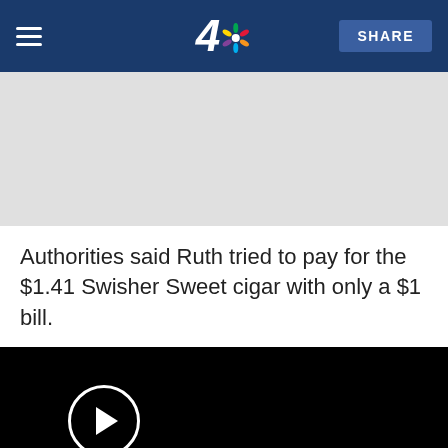NBC 4 | SHARE
[Figure (other): Advertisement placeholder area with light gray background]
Authorities said Ruth tried to pay for the $1.41 Swisher Sweet cigar with only a $1 bill.
[Figure (screenshot): Video player with black background, play button circle, duration 2:02, title: Caught on Video: Man Punches Female Clerk]